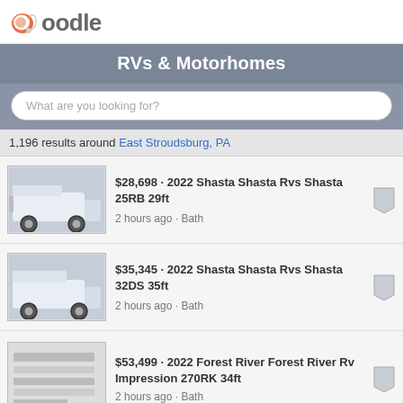oodle
RVs & Motorhomes
What are you looking for?
1,196 results around East Stroudsburg, PA
$28,698 · 2022 Shasta Shasta Rvs Shasta 25RB 29ft
2 hours ago · Bath
$35,345 · 2022 Shasta Shasta Rvs Shasta 32DS 35ft
2 hours ago · Bath
$53,499 · 2022 Forest River Forest River Rv Impression 270RK 34ft
2 hours ago · Bath
$28,246 · 2022 Shasta Shasta Rvs Shasta 25RS 29ft